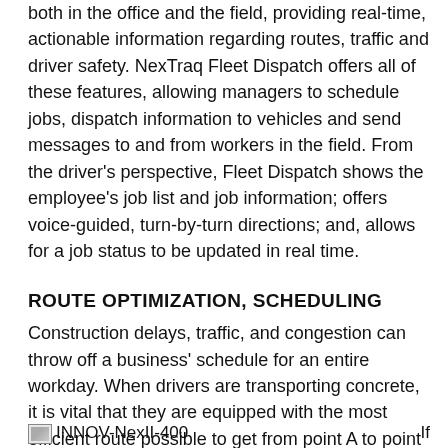both in the office and the field, providing real-time, actionable information regarding routes, traffic and driver safety. NexTraq Fleet Dispatch offers all of these features, allowing managers to schedule jobs, dispatch information to vehicles and send messages to and from workers in the field. From the driver's perspective, Fleet Dispatch shows the employee's job list and job information; offers voice-guided, turn-by-turn directions; and, allows for a job status to be updated in real time.
ROUTE OPTIMIZATION, SCHEDULING
Construction delays, traffic, and congestion can throw off a business' schedule for an entire workday. When drivers are transporting concrete, it is vital that they are equipped with the most efficient route possible to get from point A to point B. ClearPath optimized routing is an easy-to-use feature in NexTraq that takes locations and stops in a driver's itinerary and orders them to create the shortest route.
[Figure (other): Small image placeholder with label INNOV-NexII-400]
If